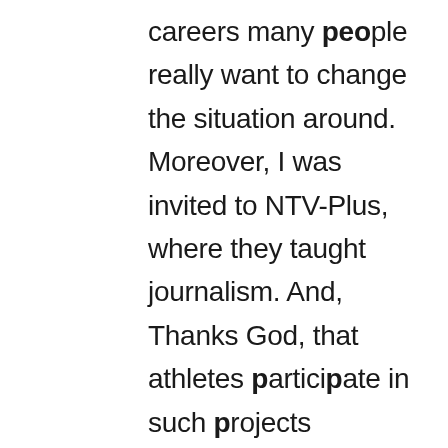careers many people really want to change the situation around. Moreover, I was invited to NTV-Plus, where they taught journalism. And, Thanks God, that athletes participate in such projects because there, on the one hand, they try something new, switch, and on the other hand, they can use all the experience and knowledge accumulated over the years of their sports career. But I did not like journalism, it was not mine. At the same time, of course, for a long time I tried to learn how to live in a world